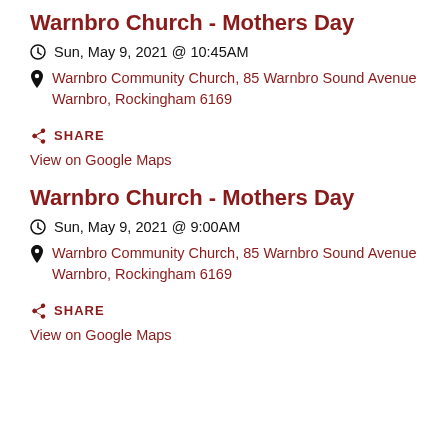Warnbro Church - Mothers Day
Sun, May 9, 2021 @ 10:45AM
Warnbro Community Church, 85 Warnbro Sound Avenue Warnbro, Rockingham 6169
SHARE
View on Google Maps
Warnbro Church - Mothers Day
Sun, May 9, 2021 @ 9:00AM
Warnbro Community Church, 85 Warnbro Sound Avenue Warnbro, Rockingham 6169
SHARE
View on Google Maps